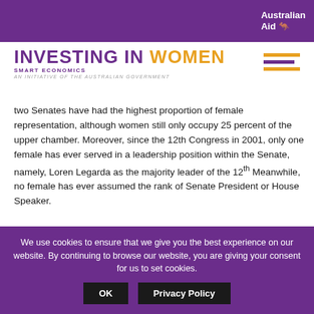Australian Aid
INVESTING IN WOMEN — SMART ECONOMICS — AN INITIATIVE OF THE AUSTRALIAN GOVERNMENT
two Senates have had the highest proportion of female representation, although women still only occupy 25 percent of the upper chamber. Moreover, since the 12th Congress in 2001, only one female has ever served in a leadership position within the Senate, namely, Loren Legarda as the majority leader of the 12th Meanwhile, no female has ever assumed the rank of Senate President or House Speaker.
The overall picture is particularly alarming in the local elective offices, such as in the positions of governor, mayor, and
We use cookies to ensure that we give you the best experience on our website. By continuing to browse our website, you are giving your consent for us to set cookies.
OK | Privacy Policy